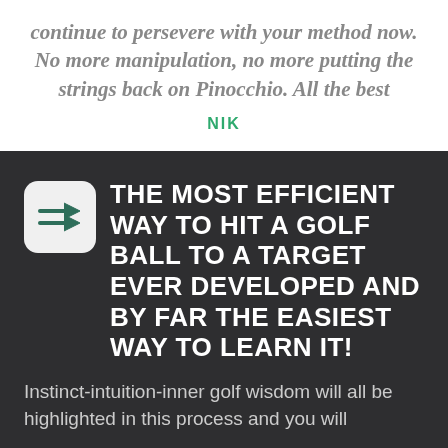continue to persevere with your method now. No more manipulation, no more putting the strings back on Pinocchio. All the best
NIK
THE MOST EFFICIENT WAY TO HIT A GOLF BALL TO A TARGET EVER DEVELOPED AND BY FAR THE EASIEST WAY TO LEARN IT!
Instinct-intuition-inner golf wisdom will all be highlighted in this process and you will